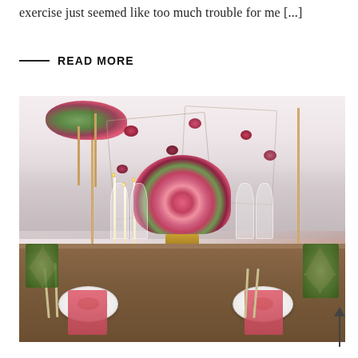exercise just seemed like too much trouble for me [...]
READ MORE
[Figure (photo): Elegant outdoor wedding table setting with floral arrangements, hanging geometric frames with flowers, copper/gold candlesticks, place settings with pink napkins, and a large pink and red floral centerpiece on a wooden table against a misty foggy backdrop.]